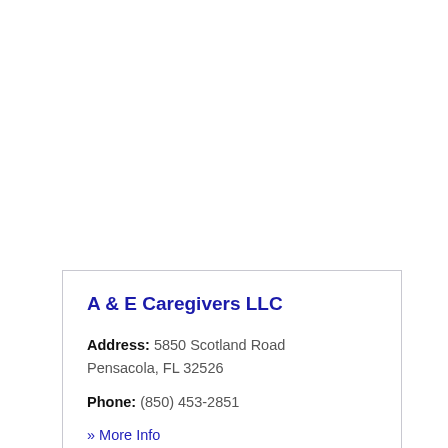A & E Caregivers LLC
Address: 5850 Scotland Road Pensacola, FL 32526
Phone: (850) 453-2851
» More Info